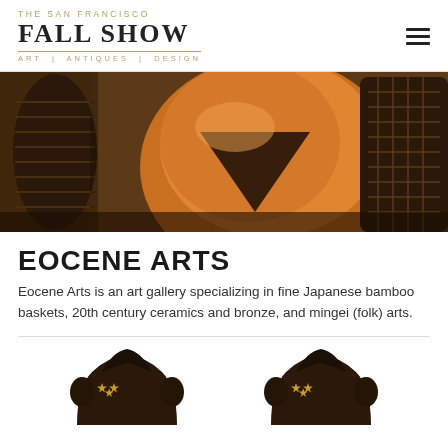THE SAN FRANCISCO FALL SHOW | ART | ANTIQUES | DESIGN
[Figure (photo): Close-up photo of Japanese bamboo baskets and a rounded orange/bronze ceramic or leather vessel on a wooden surface with warm brown tones]
EOCENE ARTS
Eocene Arts is an art gallery specializing in fine Japanese bamboo baskets, 20th century ceramics and bronze, and mingei (folk) arts.
[Figure (photo): Two dark ornate decorative objects with gold star/bee accents, partially visible at bottom of page]